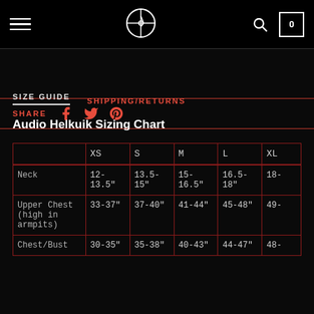Navigation bar with hamburger menu, logo, search and cart icons
SHARE
SIZE GUIDE | SHIPPING/RETURNS
Audio Helkuik Sizing Chart
|  | XS | S | M | L | XL |
| --- | --- | --- | --- | --- | --- |
| Neck | 12-13.5" | 13.5-15" | 15-16.5" | 16.5-18" | 18- |
| Upper Chest (high in armpits) | 33-37" | 37-40" | 41-44" | 45-48" | 49- |
| Chest/Bust | 30-35" | 35-38" | 40-43" | 44-47" | 48- |